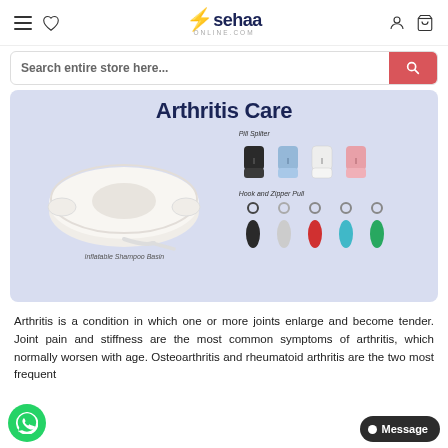sehaa ONLINE.COM — navigation bar with hamburger menu, heart/wishlist icon, logo, user icon, cart icon
Search entire store here...
[Figure (infographic): Arthritis Care banner with light blue/lavender background. Left side shows an inflatable shampoo basin (white oval inflatable product). Right side shows pill splitters in 4 colors (black, blue, white, pink) labeled 'Pill Spliter', and hook and zipper pulls in 4 colors (black, white, red, teal/cyan, green) labeled 'Hook and Zipper Pull'.]
Arthritis is a condition in which one or more joints enlarge and become tender. Joint pain and stiffness are the most common symptoms of arthritis, which normally worsen with age. Osteoarthritis and rheumatoid arthritis are the two most frequent